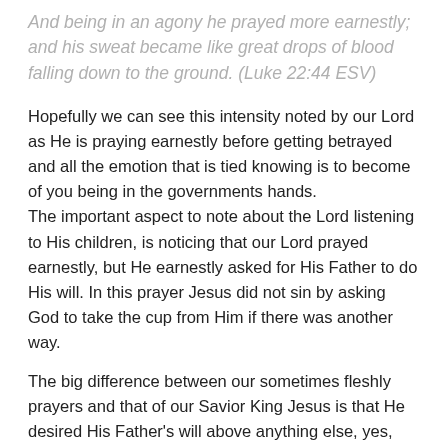And being in an agony he prayed more earnestly; and his sweat became like great drops of blood falling down to the ground. (Luke 22:44 ESV)
Hopefully we can see this intensity noted by our Lord as He is praying earnestly before getting betrayed and all the emotion that is tied knowing is to become of you being in the governments hands.
The important aspect to note about the Lord listening to His children, is noticing that our Lord prayed earnestly, but He earnestly asked for His Father to do His will. In this prayer Jesus did not sin by asking God to take the cup from Him if there was another way.
The big difference between our sometimes fleshly prayers and that of our Savior King Jesus is that He desired His Father's will above anything else, yes, even if that meant dying a cruel death on a bloody cross for us while we were still sinners.